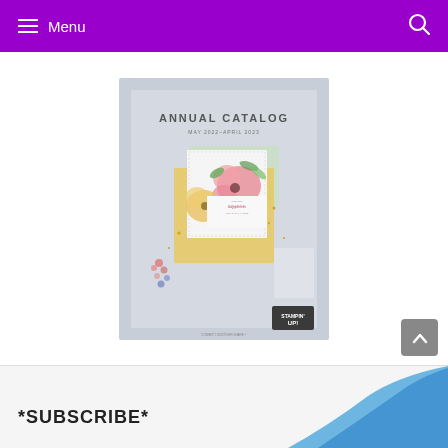Menu
[Figure (photo): Stampin' Up! Annual Catalog May 2022–April 2023 cover showing floral card designs with pink and yellow flowers on a light blue background]
[Figure (screenshot): Back-to-top button (chevron up arrow on grey square)]
*SUBSCRIBE*